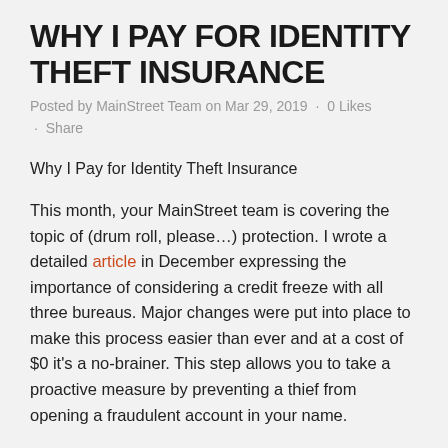WHY I PAY FOR IDENTITY THEFT INSURANCE
Posted by MainStreet Team on Mar 29, 2019 · 0 Likes · Share
Why I Pay for Identity Theft Insurance
This month, your MainStreet team is covering the topic of (drum roll, please…) protection. I wrote a detailed article in December expressing the importance of considering a credit freeze with all three bureaus. Major changes were put into place to make this process easier than ever and at a cost of $0 it's a no-brainer. This step allows you to take a proactive measure by preventing a thief from opening a fraudulent account in your name.